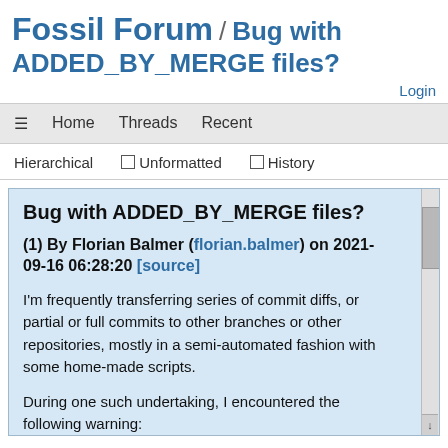Fossil Forum / Bug with ADDED_BY_MERGE files?
Login
≡  Home  Threads  Recent
Hierarchical  ☐ Unformatted  ☐ History
Bug with ADDED_BY_MERGE files?
(1) By Florian Balmer (florian.balmer) on 2021-09-16 06:28:20 [source]
I'm frequently transferring series of commit diffs, or partial or full commits to other branches or other repositories, mostly in a semi-automated fashion with some home-made scripts.
During one such undertaking, I encountered the following warning:
ERROR: [FILE] is different on disk compared to the repository